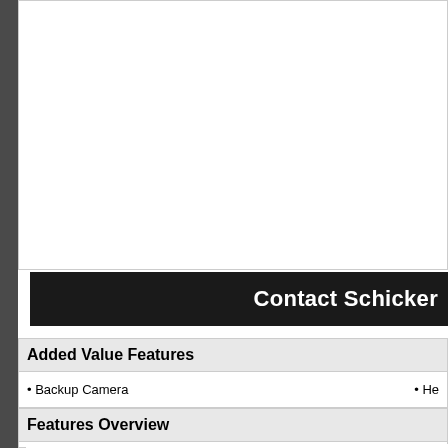[Figure (other): White box area at top of page, partial vehicle listing content]
Contact Schicker
Added Value Features
Backup Camera
He[ated Seats - partial]
Features Overview
4 Cylinder Engine
Child Safety Locks
MP3 [Player - partial]
4-Wheel Disc Brakes
Cruise Control
Pass[enger - partial]
6-Speed A/T
Daytime Running Lights
Pass[enger - partial]
A/C
Driver Adjustable Lumbar
Pass[enger - partial]